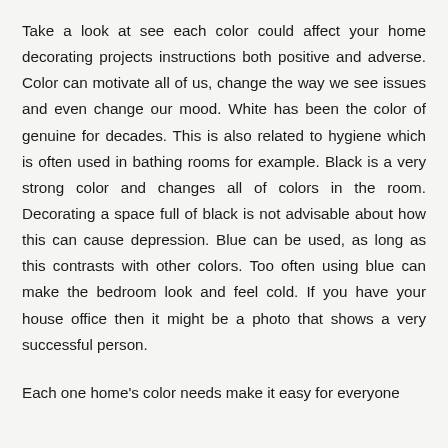Take a look at see each color could affect your home decorating projects instructions both positive and adverse. Color can motivate all of us, change the way we see issues and even change our mood. White has been the color of genuine for decades. This is also related to hygiene which is often used in bathing rooms for example. Black is a very strong color and changes all of colors in the room. Decorating a space full of black is not advisable about how this can cause depression. Blue can be used, as long as this contrasts with other colors. Too often using blue can make the bedroom look and feel cold. If you have your house office then it might be a photo that shows a very successful person.
Each one home's color needs make it easy for everyone